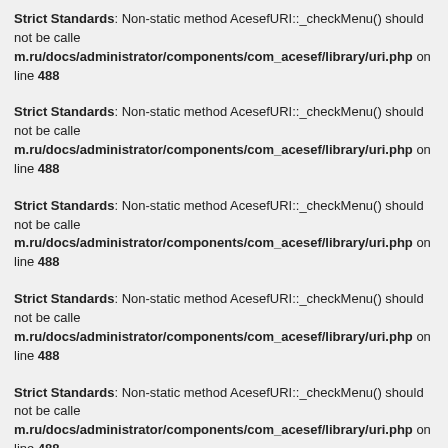Strict Standards: Non-static method AcesefURI::_checkMenu() should not be called... m.ru/docs/administrator/components/com_acesef/library/uri.php on line 488
Strict Standards: Non-static method AcesefURI::_checkMenu() should not be called... m.ru/docs/administrator/components/com_acesef/library/uri.php on line 488
Strict Standards: Non-static method AcesefURI::_checkMenu() should not be called... m.ru/docs/administrator/components/com_acesef/library/uri.php on line 488
Strict Standards: Non-static method AcesefURI::_checkMenu() should not be called... m.ru/docs/administrator/components/com_acesef/library/uri.php on line 488
Strict Standards: Non-static method AcesefURI::_checkMenu() should not be called... m.ru/docs/administrator/components/com_acesef/library/uri.php on line 488
Strict Standards: Only variables should be assigned by reference in /home/pelen... 463
Strict Standards: Non-static method AcesefURI::fixUriVariables() should not be called... m.ru/docs/administrator/components/com_acesef/library/router.php on line 47
Strict Standards: Non-static method AcesefURI::fixUriVariables() should not be called...